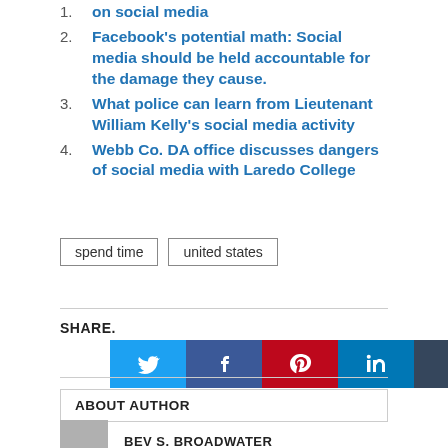on social media
2. Facebook's potential math: Social media should be held accountable for the damage they cause.
3. What police can learn from Lieutenant William Kelly's social media activity
4. Webb Co. DA office discusses dangers of social media with Laredo College
spend time   united states
SHARE.
[Figure (infographic): Social media share icons: Twitter (blue), Facebook (dark blue), Pinterest (red), LinkedIn (blue), Tumblr (dark slate), Email (dark)]
ABOUT AUTHOR
BEV S. BROADWATER